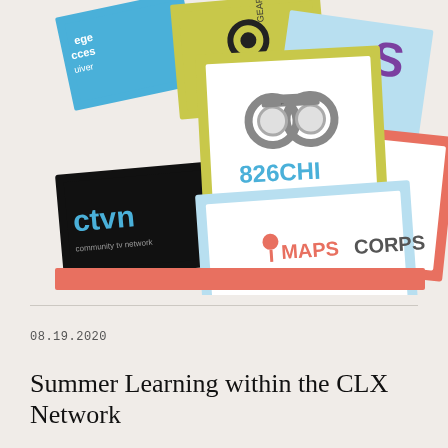[Figure (illustration): Collage illustration of organization logos arranged like Polaroid photos: 826CHI (with binoculars icon), MAPSCORPS (with location pin), ctvn community tv network, Shine On Chicago!, CHICAT, Gear Alliance, and partial logos for college access/river organization. Cards are colorful with orange/red/blue/green/yellow backgrounds.]
08.19.2020
Summer Learning within the CLX Network